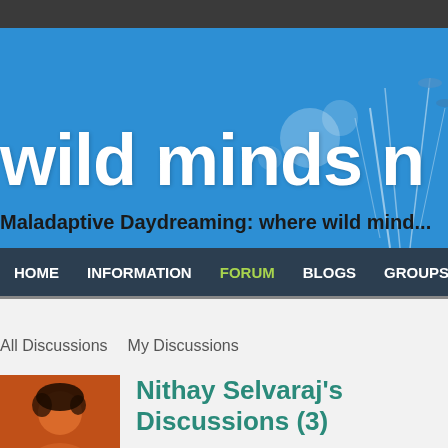wild minds network - Maladaptive Daydreaming: where wild minds meet
[Figure (screenshot): Website banner with blue background and site title 'wild minds' in large white text, subtitle 'Maladaptive Daydreaming: where wild minds...']
HOME | INFORMATION | FORUM | BLOGS | GROUPS | M...
All Discussions   My Discussions
Nithay Selvaraj's Discussions (3)
Sign in to chat!